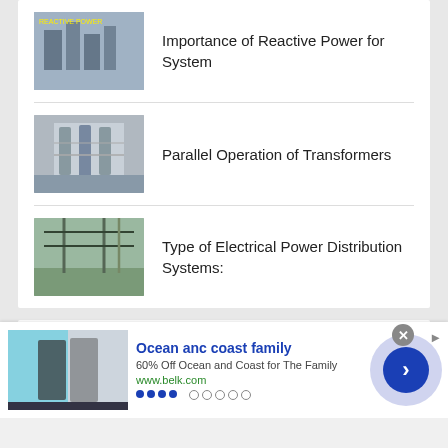Importance of Reactive Power for System
Parallel Operation of Transformers
Type of Electrical Power Distribution Systems:
RECENT   REPLIES   RANDOM
[Figure (screenshot): Advertisement banner: Ocean anc coast family, 60% Off Ocean and Coast for The Family, www.belk.com]